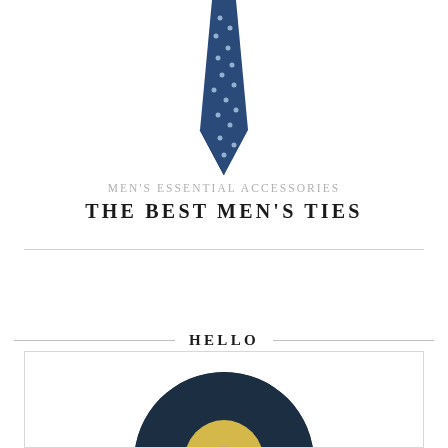[Figure (photo): A navy blue dotted necktie photographed vertically on a white background]
MEN'S ESSENTIAL ACCESSORIES
THE BEST MEN'S TIES
HELLO
[Figure (photo): A circular cropped portrait photo of a blonde woman against a dark navy background, shown from shoulders up]